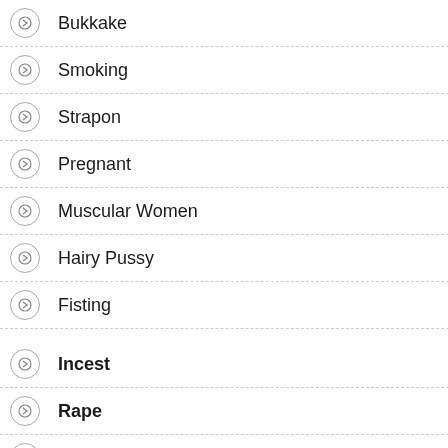Bukkake
Smoking
Strapon
Pregnant
Muscular Women
Hairy Pussy
Fisting
Incest
Rape
Transsexual
Bisexual
Gay
Snuff
Pissing
Scat
[EverythingButt.com, b...
Views: 0   Yes
Aurora Frost, Classy Fi... Riley - Sexy threesome... spunk in their faces - S... [UltraHD 4K. 2160p]
Views: 0